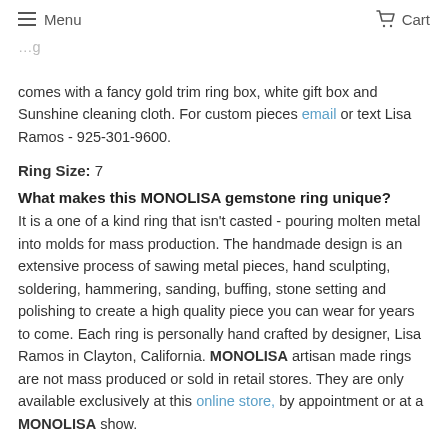Menu  Cart
comes with a fancy gold trim ring box, white gift box and Sunshine cleaning cloth. For custom pieces email or text Lisa Ramos - 925-301-9600.
Ring Size: 7
What makes this MONOLISA gemstone ring unique?
It is a one of a kind ring that isn't casted - pouring molten metal into molds for mass production. The handmade design is an extensive process of sawing metal pieces, hand sculpting, soldering, hammering, sanding, buffing, stone setting and polishing to create a high quality piece you can wear for years to come. Each ring is personally hand crafted by designer, Lisa Ramos in Clayton, California. MONOLISA artisan made rings are not mass produced or sold in retail stores. They are only available exclusively at this online store, by appointment or at a MONOLISA show.